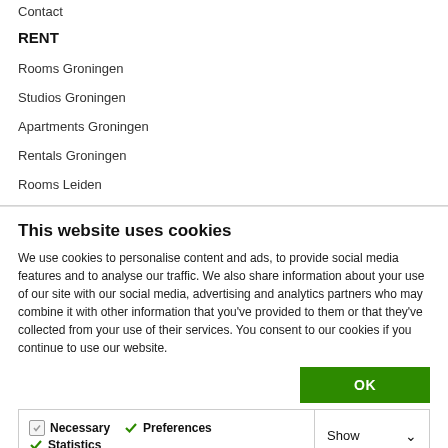Contact
RENT
Rooms Groningen
Studios Groningen
Apartments Groningen
Rentals Groningen
Rooms Leiden
This website uses cookies
We use cookies to personalise content and ads, to provide social media features and to analyse our traffic. We also share information about your use of our site with our social media, advertising and analytics partners who may combine it with other information that you've provided to them or that they've collected from your use of their services. You consent to our cookies if you continue to use our website.
OK
Necessary  Preferences  Statistics  Marketing  Show details